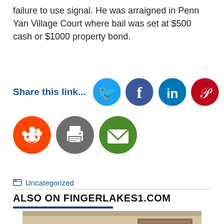failure to use signal. He was arraigned in Penn Yan Village Court where bail was set at $500 cash or $1000 property bond.
[Figure (infographic): Share this link social media icons: Twitter (blue), Facebook (dark blue), LinkedIn (dark blue), Pinterest (red), Reddit (red), Print (gray), Email (green)]
Uncategorized
ALSO ON FINGERLAKES1.COM
[Figure (photo): Photo of a dog or animal, partially visible, indoors with a framed picture on the wall in the background]